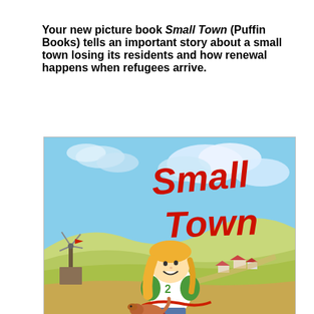Your new picture book Small Town (Puffin Books) tells an important story about a small town losing its residents and how renewal happens when refugees arrive.
[Figure (illustration): Book cover of 'Small Town' (Puffin Books) showing a cartoon girl with blonde hair wearing a white and green shirt with number 2, standing with a bicycle. In the background is a rural landscape with rolling hills, farmhouses, a windmill, and a blue sky with clouds. The title 'Small Town' is written in large red brush-script lettering. A dog is partially visible at the bottom.]